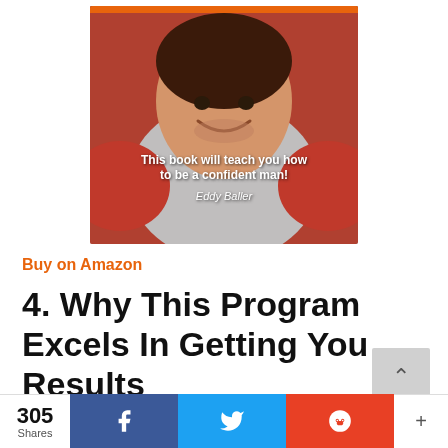[Figure (photo): Book cover for a social skills / dating advice book. Top bar reads 'Conquer shyness, meet women, and win socially'. Bottom overlay text reads 'This book will teach you how to be a confident man!' with author name 'Eddy Baller'.]
Buy on Amazon
4. Why This Program Excels In Getting You Results
A lot of programs out there...
305 Shares